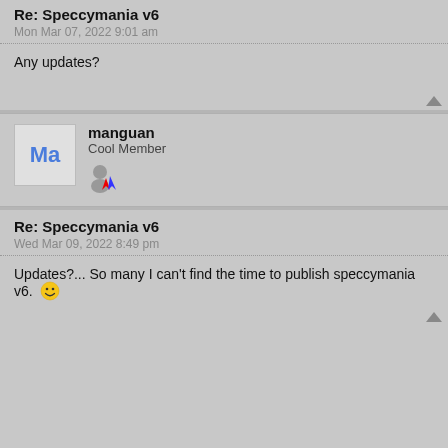Re: Speccymania v6
Mon Mar 07, 2022 9:01 am
Any updates?
manguan
Cool Member
Re: Speccymania v6
Wed Mar 09, 2022 8:49 pm
Updates?... So many I can't find the time to publish speccymania v6. 😁